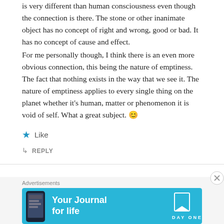is very different than human consciousness even though the connection is there. The stone or other inanimate object has no concept of right and wrong, good or bad. It has no concept of cause and effect.
For me personally though, I think there is an even more obvious connection, this being the nature of emptiness. The fact that nothing exists in the way that we see it. The nature of emptiness applies to every single thing on the planet whether it's human, matter or phenomenon it is void of self. What a great subject. 😊
★ Like
↳ REPLY
Advertisements
[Figure (screenshot): Day One app advertisement banner with phone image on blue background, text 'Your Journal for life' and DAY ONE logo with bookmark icon]